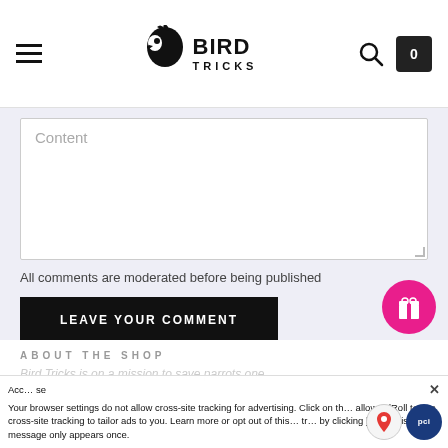Bird Tricks — navigation header with hamburger menu, logo, search and cart icons
Content
All comments are moderated before being published
LEAVE YOUR COMMENT
ABOUT THE SHOP
Bird Tricks is on a mission to save parrots one…
Acc… se  Your browser settings do not allow cross-site tracking for advertising. Click on th… allow AdRoll to use cross-site tracking to tailor ads to you. Learn more or opt out of this… tr… by clicking here. This message only appears once.